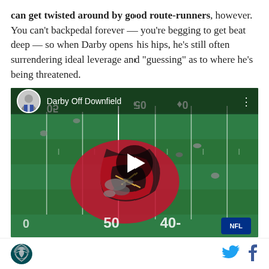can get twisted around by good route-runners, however. You can't backpedal forever — you're begging to get beat deep — so when Darby opens his hips, he's still often surrendering ideal leverage and "guessing" as to where he's being threatened.
[Figure (screenshot): Video thumbnail showing an aerial view of an NFL football game on a field with the Tampa Bay Buccaneers logo at midfield. The video title reads 'Darby Off Downfield' with a play button overlay. A small circular avatar of a man in a suit appears in the top-left corner of the video.]
[Figure (logo): Philadelphia Eagles logo - green eagle head in a shield]
[Figure (logo): Twitter bird icon in blue]
[Figure (logo): Facebook 'f' icon in blue]